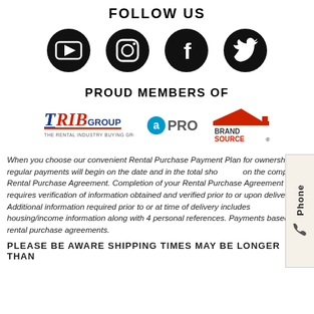FOLLOW US
[Figure (illustration): Four social media icons in black circles: YouTube, Instagram, Facebook, Twitter]
PROUD MEMBERS OF
[Figure (logo): Three membership logos: TRIBGroup, aPRO, BrandSource]
When you choose our convenient Rental Purchase Payment Plan for ownership, regular payments will begin on the date and in the total shown on the completed Rental Purchase Agreement. Completion of your Rental Purchase Agreement requires verification of information obtained and verified prior to or upon delivery. Additional information required prior to or at time of delivery includes housing/income information along with 4 personal references. Payments based on rental purchase agreements.
PLEASE BE AWARE SHIPPING TIMES MAY BE LONGER THAN